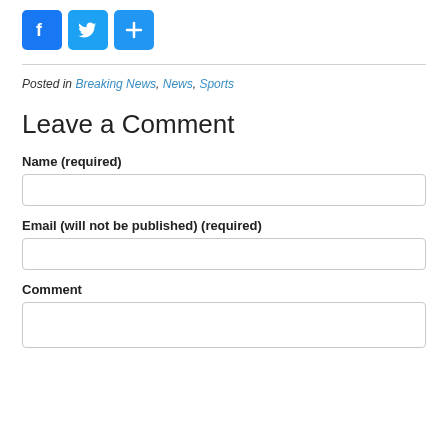[Figure (other): Social sharing buttons: Facebook (blue), Twitter (blue bird), and a plus/share button (blue)]
Posted in Breaking News, News, Sports
Leave a Comment
Name (required)
Email (will not be published) (required)
Comment